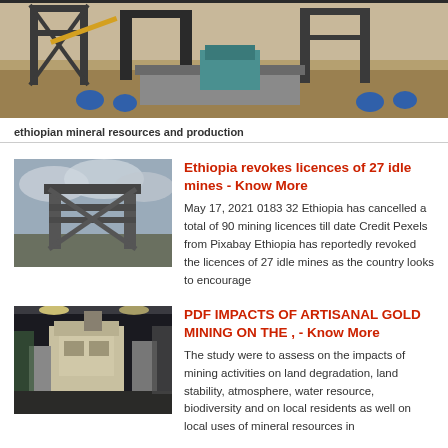[Figure (photo): Mining facility with metal scaffolding/framework structure, machinery, and rocky terrain in an open-pit mining site]
ethiopian mineral resources and production
[Figure (photo): Abandoned mine structure with metal support columns/headframe against a cloudy sky]
Ethiopia revokes licences of 27 idle mines - Know More
May 17, 2021 0183 32 Ethiopia has cancelled a total of 90 mining licences till date Credit Pexels from Pixabay Ethiopia has reportedly revoked the licences of 27 idle mines as the country looks to encourage
[Figure (photo): Industrial building interior with large machinery/dust collector equipment in a warehouse or processing facility]
PDF IMPACTS OF ARTISANAL GOLD MINING ON THE , - Know More
The study were to assess on the impacts of mining activities on land degradation, land stability, atmosphere, water resource, biodiversity and on local residents as well on local uses of mineral resources in